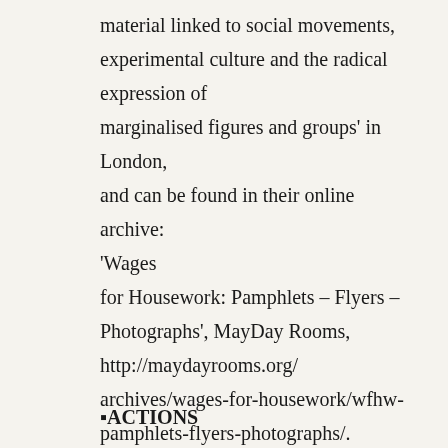material linked to social movements, experimental culture and the radical expression of marginalised figures and groups' in London, and can be found in their online archive: 'Wages for Housework: Pamphlets – Flyers – Photographs', MayDay Rooms, http://maydayrooms.org/archives/wages-for-housework/wfhw-pamphlets-flyers-photographs/.
⬛ACTIONS